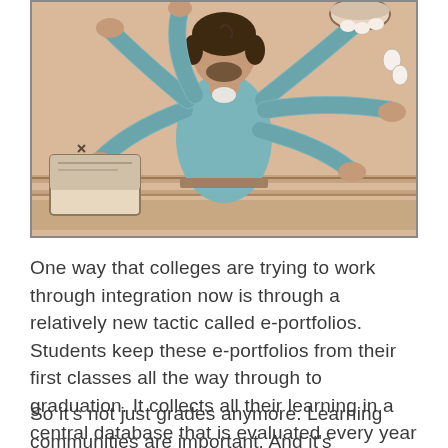[Figure (illustration): Comic-style illustration of a multi-armed person (from behind) wearing a teal long-sleeve shirt, simultaneously typing on a laptop/keyboard with one hand, holding a bowl with another, and gesturing with other arms. The background is warm beige/tan with horizontal lines suggesting a counter or desk surface.]
One way that colleges are trying to work through integration now is through a relatively new tactic called e-portfolios. Students keep these e-portfolios from their first classes all the way through to graduation. It collects all their learning in a central database that is evaluated every year by a group of faculty members.
So it's not just grades anymore. Learning communities are important. And it's important